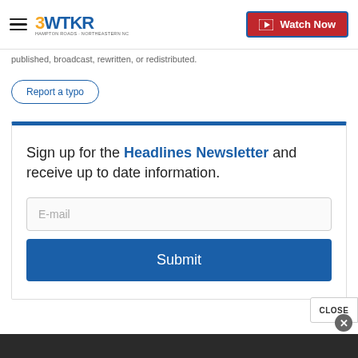3WTKR — Watch Now
published, broadcast, rewritten, or redistributed.
Report a typo
Sign up for the Headlines Newsletter and receive up to date information.
[Figure (screenshot): Email signup form with E-mail input field and Submit button]
CLOSE